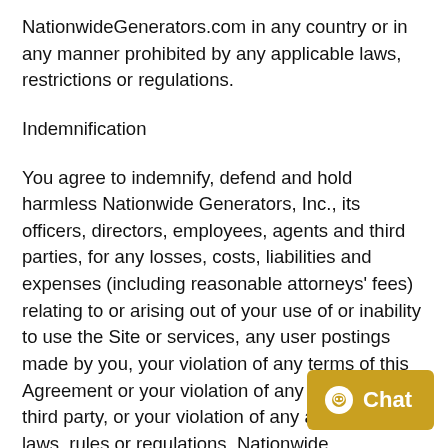NationwideGenerators.com in any country or in any manner prohibited by any applicable laws, restrictions or regulations.
Indemnification
You agree to indemnify, defend and hold harmless Nationwide Generators, Inc., its officers, directors, employees, agents and third parties, for any losses, costs, liabilities and expenses (including reasonable attorneys' fees) relating to or arising out of your use of or inability to use the Site or services, any user postings made by you, your violation of any terms of this Agreement or your violation of any rights of a third party, or your violation of any applicable laws, rules or regulations. Nationwide Generators, Inc. reserves the right, at its own cost, to assume the excl... and control of any matter otherwise subj... indemnification by you, in which event you will fully